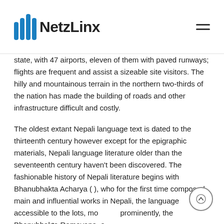NetzLinx
state, with 47 airports, eleven of them with paved runways; flights are frequent and assist a sizeable site visitors. The hilly and mountainous terrain in the northern two-thirds of the nation has made the building of roads and other infrastructure difficult and costly.
The oldest extant Nepali language text is dated to the thirteenth century however except for the epigraphic materials, Nepali language literature older than the seventeenth century haven't been discovered. The fashionable history of Nepali literature begins with Bhanubhakta Acharya ( ), who for the first time composed main and influential works in Nepali, the language accessible to the lots, most prominently, the Bhanubhakta Ramayana, a translation of the traditional Hindu epic. Partly, the...